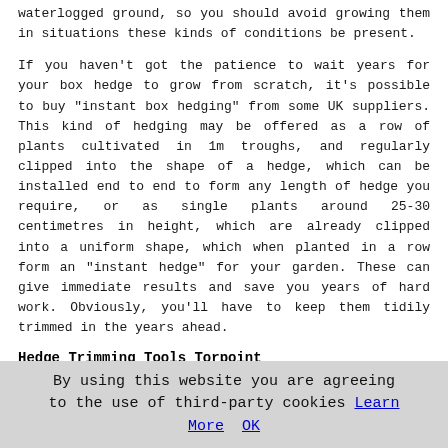waterlogged ground, so you should avoid growing them in situations these kinds of conditions be present.
If you haven't got the patience to wait years for your box hedge to grow from scratch, it's possible to buy "instant box hedging" from some UK suppliers. This kind of hedging may be offered as a row of plants cultivated in 1m troughs, and regularly clipped into the shape of a hedge, which can be installed end to end to form any length of hedge you require, or as single plants around 25-30 centimetres in height, which are already clipped into a uniform shape, which when planted in a row form an "instant hedge" for your garden. These can give immediate results and save you years of hard work. Obviously, you'll have to keep them tidily trimmed in the years ahead.
Hedge Trimming Tools Torpoint
If,   when push  comes to    shove, you opt not to bring in a
[Figure (photo): A pair of pruning shears/secateurs with an orange handle and silver metal blades, shown diagonally.]
By using this website you are agreeing to the use of third-party cookies Learn More  OK